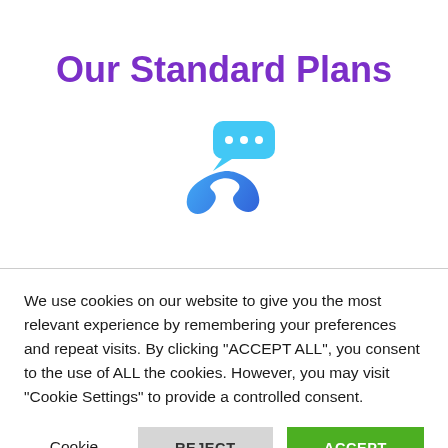Our Standard Plans
[Figure (illustration): Phone handset with chat bubble icon in blue gradient colors]
We use cookies on our website to give you the most relevant experience by remembering your preferences and repeat visits. By clicking "ACCEPT ALL", you consent to the use of ALL the cookies. However, you may visit "Cookie Settings" to provide a controlled consent.
Cookie Settings | REJECT ALL | ACCEPT ALL